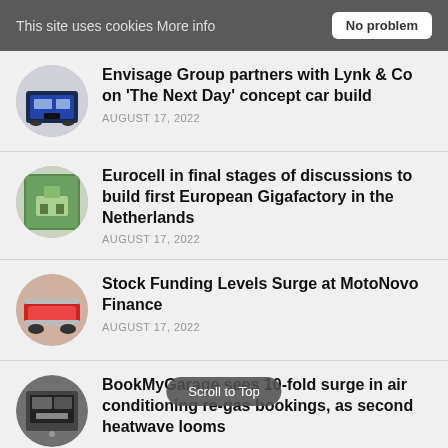This site uses cookies More info  No problem
Envisage Group partners with Lynk & Co on ‘The Next Day’ concept car build
AUGUST 17, 2022
Eurocell in final stages of discussions to build first European Gigafactory in the Netherlands
AUGUST 17, 2022
Stock Funding Levels Surge at MotoNovo Finance
AUGUST 17, 2022
BookMyGarage sees 10-fold surge in air conditioning re-gas bookings, as second heatwave looms